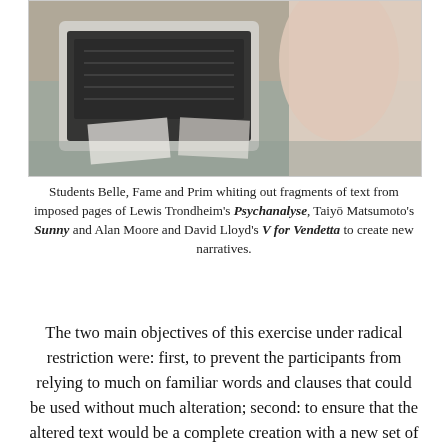[Figure (photo): A photo of students Belle, Fame and Prim working at a table with laptops and papers, whiting out text from imposed pages.]
Students Belle, Fame and Prim whiting out fragments of text from imposed pages of Lewis Trondheim's Psychanalyse, Taiyō Matsumoto's Sunny and Alan Moore and David Lloyd's V for Vendetta to create new narratives.
The two main objectives of this exercise under radical restriction were: first, to prevent the participants from relying to much on familiar words and clauses that could be used without much alteration; second: to ensure that the altered text would be a complete creation with a new set of meanings, not influenced by